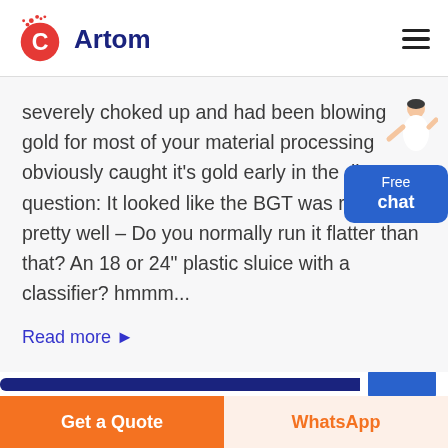Artom
severely choked up and had been blowing gold for most of your material processing obviously caught it's gold early in the dig. a question: It looked like the BGT was running pretty well – Do you normally run it flatter than that? An 18 or 24" plastic sluice with a classifier? hmmm...
Read more ▶